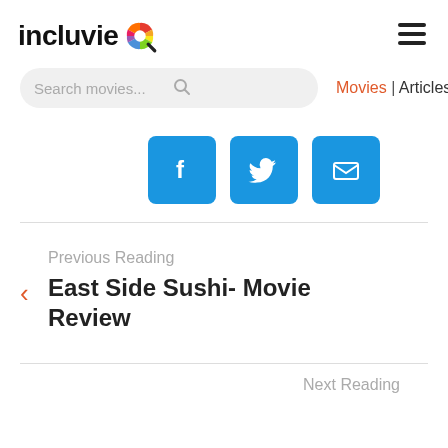incluvie
Search movies... | Movies | Articles
[Figure (other): Social sharing buttons: Facebook, Twitter, Email]
Previous Reading
East Side Sushi- Movie Review
Next Reading